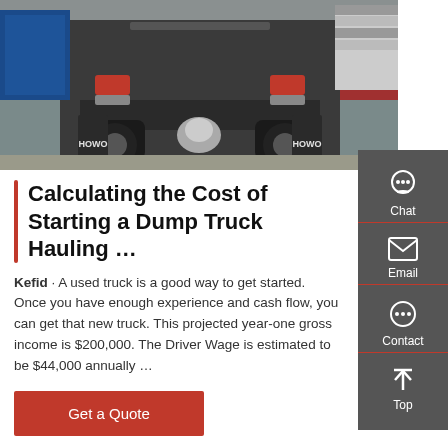[Figure (photo): Rear view of a HOWO dump truck chassis parked in a yard with blue shipping containers and other trucks in the background.]
Calculating the Cost of Starting a Dump Truck Hauling …
Kefid · A used truck is a good way to get started. Once you have enough experience and cash flow, you can get that new truck. This projected year-one gross income is $200,000. The Driver Wage is estimated to be $44,000 annually …
Get a Quote